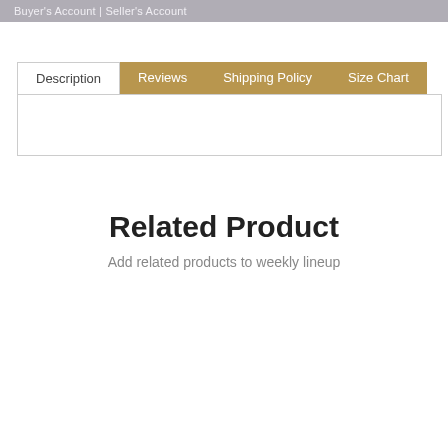Buyer's Account | Seller's Account
Description | Reviews | Shipping Policy | Size Chart
Related Product
Add related products to weekly lineup